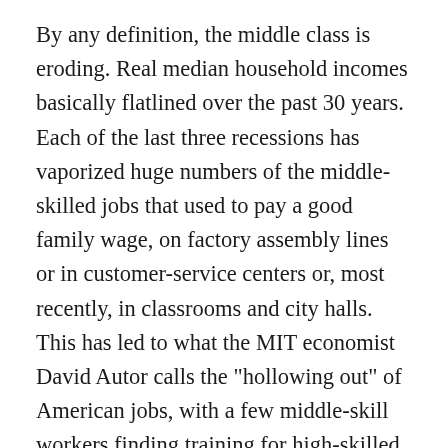By any definition, the middle class is eroding. Real median household incomes basically flatlined over the past 30 years. Each of the last three recessions has vaporized huge numbers of the middle-skilled jobs that used to pay a good family wage, on factory assembly lines or in customer-service centers or, most recently, in classrooms and city halls. This has led to what the MIT economist David Autor calls the "hollowing out" of American jobs, with a few middle-skill workers finding training for high-skilled, higher-paying careers, and the rest shoved downward into low-wage, low-skilled jobs or onto the unemployment rolls.

If the decline continues, this is what research